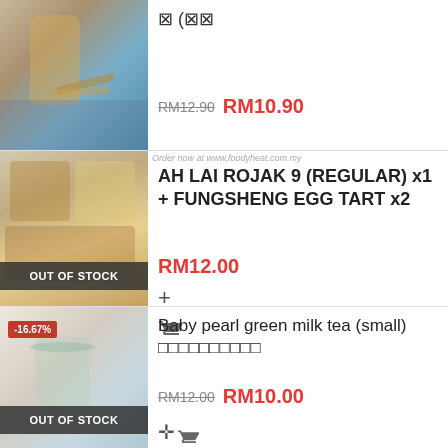[Figure (photo): Product photo of bubble tea drink with pearls and golden spoons]
⊠ (⊠⊠
RM12.90  RM10.90
Order now at www.foodyheat.com.my
[Figure (photo): Product photo showing Ah Lai Rojak and Fungsheng Egg Tart combo with OUT OF STOCK badge]
AH LAI ROJAK 9 (REGULAR) x1 + FUNGSHENG EGG TART x2
RM12.00
🛒+
[Figure (photo): Product photo of baby pearl green milk tea (small) with -16.67% discount badge and OUT OF STOCK badge]
Baby pearl green milk tea (small) □□□□□□□□□□
RM12.00  RM10.00
🛒+